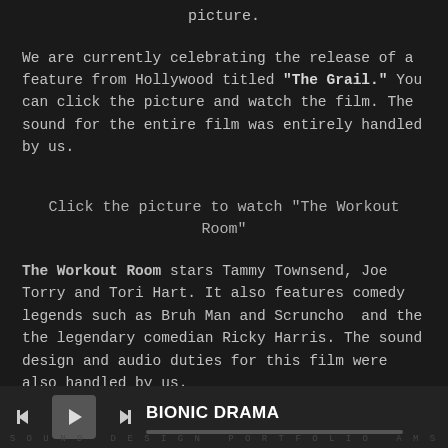picture.
We are currently celebrating the release of a feature from Hollywood titled "The Grail." You can click the picture and watch the film. The sound for the entire film was entirely handled by us.
Click the picture to watch "The Workout Room"
The Workout Room stars Tammy Townsend, Joe Torry and Tori Hart. It also features comedy legends such as Bruh Man and Scruncho  and the the legendary comedian Ricky Harris. The sound design and audio duties for this film were also handled by us.
BIONIC DRAMA